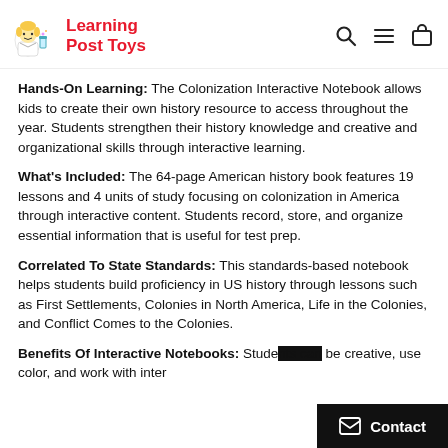Learning Post Toys
Hands-On Learning: The Colonization Interactive Notebook allows kids to create their own history resource to access throughout the year. Students strengthen their history knowledge and creative and organizational skills through interactive learning.
What's Included: The 64-page American history book features 19 lessons and 4 units of study focusing on colonization in America through interactive content. Students record, store, and organize essential information that is useful for test prep.
Correlated To State Standards: This standards-based notebook helps students build proficiency in US history through lessons such as First Settlements, Colonies in North America, Life in the Colonies, and Conflict Comes to the Colonies.
Benefits Of Interactive Notebooks: Students be creative, use color, and work with inter